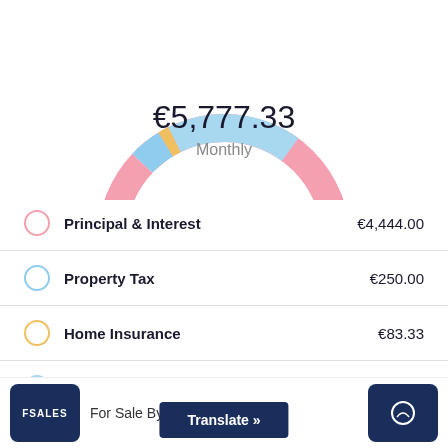[Figure (donut-chart): €5,777.33 Monthly]
| Category | Amount |
| --- | --- |
| Principal & Interest | €4,444.00 |
| Property Tax | €250.00 |
| Home Insurance | €83.33 |
| PMI | €1,000.00 |
Total Amount
For Sale By Owner   Translate »